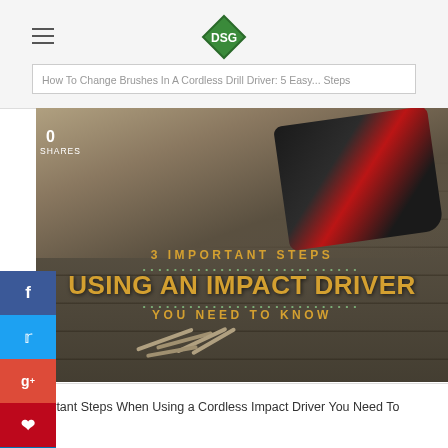How To Change Brushes In A Cordless Drill Driver: 5 Easy Steps
[Figure (photo): Person using a cordless impact driver to drive screws into a wooden deck, with scattered screws visible on the deck surface. Overlaid text reads: 3 IMPORTANT STEPS / USING AN IMPACT DRIVER / YOU NEED TO KNOW]
3 Important Steps When Using a Cordless Impact Driver You Need To Know